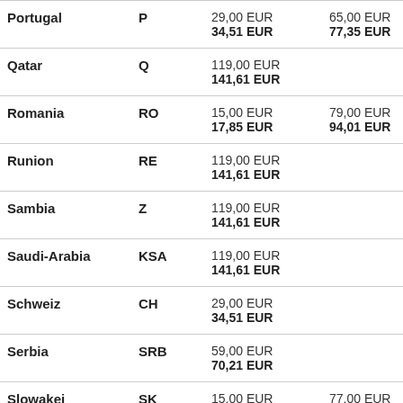| Country | Code | Price1 | Price2 | Price3 |
| --- | --- | --- | --- | --- |
| Portugal | P | 29,00 EUR
34,51 EUR | 65,00 EUR
77,35 EUR |  |
| Qatar | Q | 119,00 EUR
141,61 EUR |  | 25,0...
29,7... |
| Romania | RO | 15,00 EUR
17,85 EUR | 79,00 EUR
94,01 EUR |  |
| Runion | RE | 119,00 EUR
141,61 EUR |  | 25,0...
29,7... |
| Sambia | Z | 119,00 EUR
141,61 EUR |  | 25,0...
29,7... |
| Saudi-Arabia | KSA | 119,00 EUR
141,61 EUR |  | 25,0...
29,7... |
| Schweiz | CH | 29,00 EUR
34,51 EUR |  | 25,0...
29,7... |
| Serbia | SRB | 59,00 EUR
70,21 EUR |  | 35,0...
41,6... |
| Slowakei | SK | 15,00 EUR
... | 77,00 EUR
... |  |